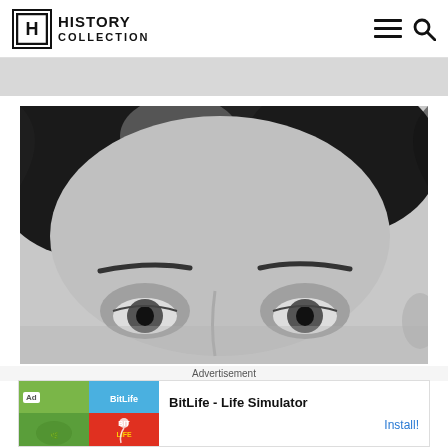HISTORY COLLECTION
[Figure (photo): Black and white close-up photograph of a young man's face, showing his forehead and eyes with dark hair styled neatly.]
Advertisement
[Figure (screenshot): Advertisement banner for BitLife - Life Simulator app with colorful app icon images on the left and an Install button on the right.]